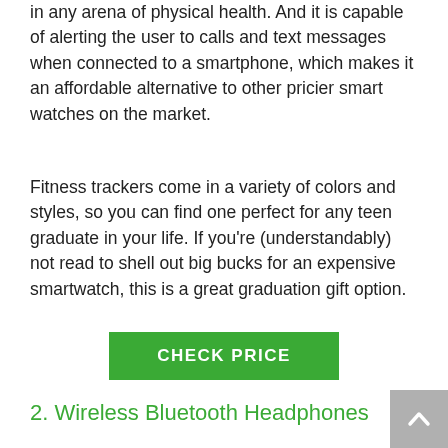in any arena of physical health. And it is capable of alerting the user to calls and text messages when connected to a smartphone, which makes it an affordable alternative to other pricier smart watches on the market.
Fitness trackers come in a variety of colors and styles, so you can find one perfect for any teen graduate in your life. If you're (understandably) not read to shell out big bucks for an expensive smartwatch, this is a great graduation gift option.
CHECK PRICE
2. Wireless Bluetooth Headphones